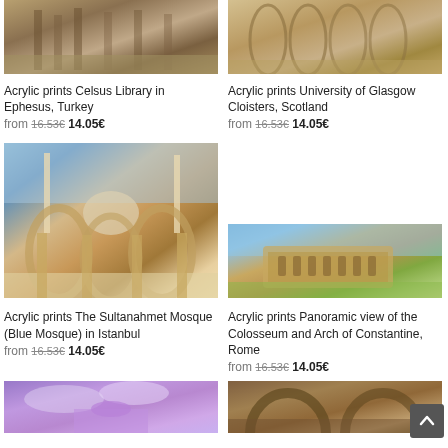[Figure (photo): Acrylic print photo of Celsus Library in Ephesus, Turkey — ancient ruins with columns]
Acrylic prints Celsus Library in Ephesus, Turkey
from 16.53€ 14.05€
[Figure (photo): Acrylic print photo of University of Glasgow Cloisters, Scotland — gothic arched interior]
Acrylic prints University of Glasgow Cloisters, Scotland
from 16.53€ 14.05€
[Figure (photo): Acrylic print photo of The Sultanahmet Mosque (Blue Mosque) in Istanbul — arches and minarets]
Acrylic prints The Sultanahmet Mosque (Blue Mosque) in Istanbul
from 16.53€ 14.05€
[Figure (photo): Acrylic print photo of Panoramic view of the Colosseum and Arch of Constantine, Rome]
Acrylic prints Panoramic view of the Colosseum and Arch of Constantine, Rome
from 16.53€ 14.05€
[Figure (photo): Partial photo bottom left — purple sky building]
[Figure (photo): Partial photo bottom right — dark stone arches]